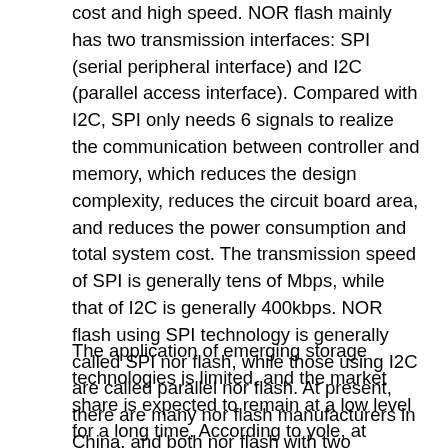cost and high speed. NOR flash mainly has two transmission interfaces: SPI (serial peripheral interface) and I2C (parallel access interface). Compared with I2C, SPI only needs 6 signals to realize the communication between controller and memory, which reduces the design complexity, reduces the circuit board area, and reduces the power consumption and total system cost. The transmission speed of SPI is generally tens of Mbps, while that of I2C is generally 400kbps. NOR flash using SPI technology is generally called SPI nor flash, while those using I2C are called parallel nor flash. At present, there are many nor flash manufacturers in China, and both nor flash with two interfaces are developed and produced.
The application of emerging storage technologies is limited, and the market share is expected to remain at a low level for a long time. According to yole, at present, the market share of other storage technologies except